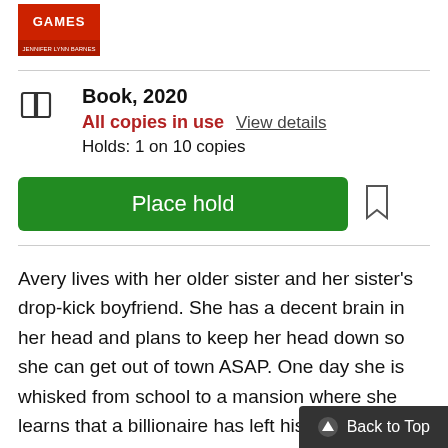[Figure (photo): Book cover thumbnail showing a red cover with the word 'GAMES' and 'JENNIFER LYNN BARNES' at the bottom]
Book, 2020
All copies in use  View details
Holds: 1 on 10 copies
Place hold
Avery lives with her older sister and her sister's drop-kick boyfriend. She has a decent brain in her head and plans to keep her head down so she can get out of town ASAP. One day she is whisked from school to a mansion where she learns that a billionaire has left his entire inheritance to her. His family, including 4 brothers, have been left with pittance and are pissed about it. The ol...
Back to Top